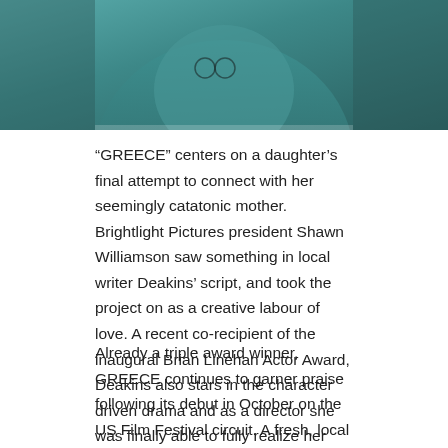[Figure (photo): A partial photo of a person wearing a teal/green jacket, cropped at the top of the page]
“GREECE” centers on a daughter’s final attempt to connect with her seemingly catatonic mother. Brightlight Pictures president Shawn Williamson saw something in local writer Deakins’ script, and took the project on as a creative labour of love. A recent co-recipient of the inaugural Brian Linehan Actor Award, Deakins also stars in the character driven drama and as a director she was finally able to fully realize her vision, in her hometown of Vancouver.
Already a triple award winner, GREECE continues to garner praise following its debut in October on the US Film Festival circuit. A fresh, local Vancouver crew, all volunteers, worked closely together to produce a short